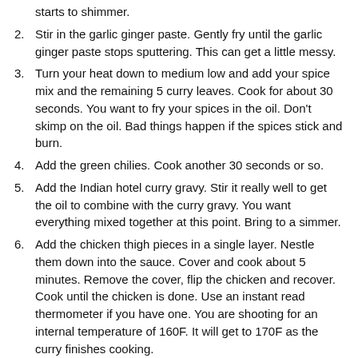starts to shimmer.
2. Stir in the garlic ginger paste. Gently fry until the garlic ginger paste stops sputtering. This can get a little messy.
3. Turn your heat down to medium low and add your spice mix and the remaining 5 curry leaves. Cook for about 30 seconds. You want to fry your spices in the oil. Don't skimp on the oil. Bad things happen if the spices stick and burn.
4. Add the green chilies. Cook another 30 seconds or so.
5. Add the Indian hotel curry gravy. Stir it really well to get the oil to combine with the curry gravy. You want everything mixed together at this point. Bring to a simmer.
6. Add the chicken thigh pieces in a single layer. Nestle them down into the sauce. Cover and cook about 5 minutes. Remove the cover, flip the chicken and recover. Cook until the chicken is done. Use an instant read thermometer if you have one. You are shooting for an internal temperature of 160F. It will get to 170F as the curry finishes cooking.
7. Add the tamarind paste and coconut milk. Stir well to combine.